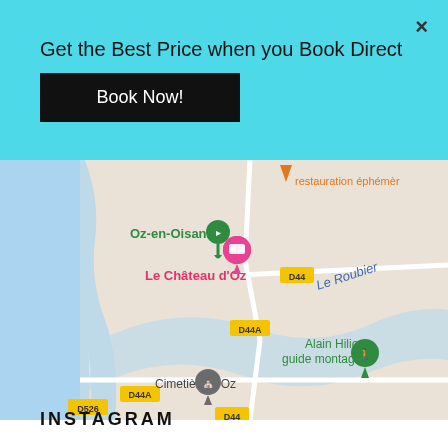Get the Best Price when you Book Direct
Book Now!
[Figure (map): Google Maps screenshot showing Oz-en-Oisans area in France with markers for Le Château d'Oz (pink hotel pin), Alain Hilion guide montagne (green hiking pin), Cimetière D'Oz (grey pin), road labels D44, D44A, D526, location Oz-en-Oisans in green text, restauration éphémère in orange, Le Roubier label in blue, and a river/water feature in light blue on the left.]
INSTAGRAM